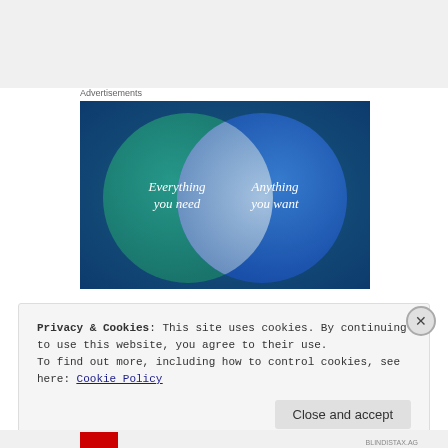Advertisements
[Figure (illustration): Venn diagram advertisement with two overlapping circles on a blue/teal background. Left circle (teal/green) has text 'Everything you need'. Right circle (blue) has text 'Anything you want'. The overlapping region is light blue/silvery.]
Privacy & Cookies: This site uses cookies. By continuing to use this website, you agree to their use.
To find out more, including how to control cookies, see here: Cookie Policy
Close and accept